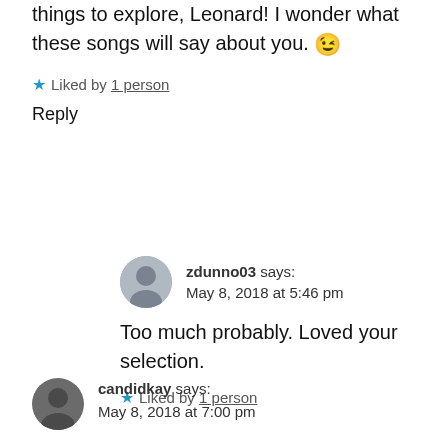things to explore, Leonard! I wonder what these songs will say about you. 😉
★ Liked by 1 person
Reply
zdunno03 says: May 8, 2018 at 5:46 pm
Too much probably. Loved your selection.
★ Liked by 1 person
candidkay says: May 8, 2018 at 7:00 pm